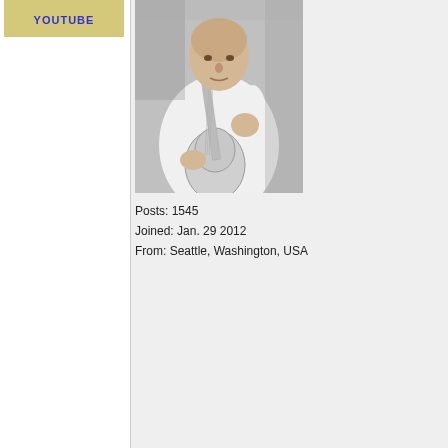[Figure (photo): Thumbnail image with yellow background and YOUTUBE text in blue]
[Figure (photo): Black and white photograph of a man playing classical guitar, wearing a white shirt, bald, seated]
Posts: 1545
Joined: Jan. 29 2012
From: Seattle, Washington, USA